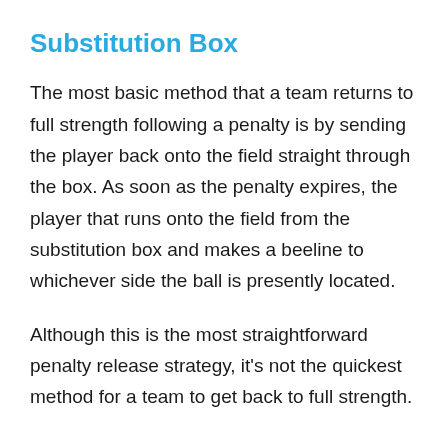Substitution Box
The most basic method that a team returns to full strength following a penalty is by sending the player back onto the field straight through the box. As soon as the penalty expires, the player that runs onto the field from the substitution box and makes a beeline to whichever side the ball is presently located.
Although this is the most straightforward penalty release strategy, it's not the quickest method for a team to get back to full strength.